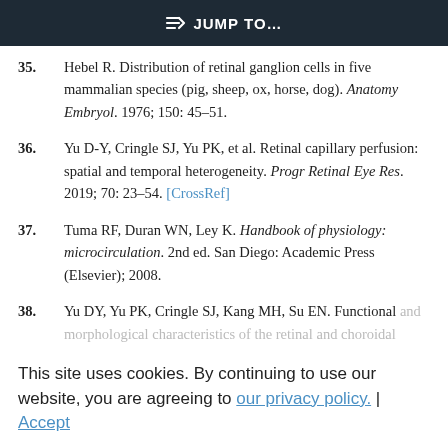JUMP TO...
35. Hebel R. Distribution of retinal ganglion cells in five mammalian species (pig, sheep, ox, horse, dog). Anatomy Embryol. 1976; 150: 45–51.
36. Yu D-Y, Cringle SJ, Yu PK, et al. Retinal capillary perfusion: spatial and temporal heterogeneity. Progr Retinal Eye Res. 2019; 70: 23–54. [CrossRef]
37. Tuma RF, Duran WN, Ley K. Handbook of physiology: microcirculation. 2nd ed. San Diego: Academic Press (Elsevier); 2008.
38. Yu DY, Yu PK, Cringle SJ, Kang MH, Su EN. Functional and morphological characteristics of the retinal and choroidal vasculature. Prog Retin Eye Res. 2010; 40: 53–93. [CrossRef] [PubMed]
39. Attwell D, Buchan AM, Charpak S, Lauritzen M...
This site uses cookies. By continuing to use our website, you are agreeing to our privacy policy. Accept